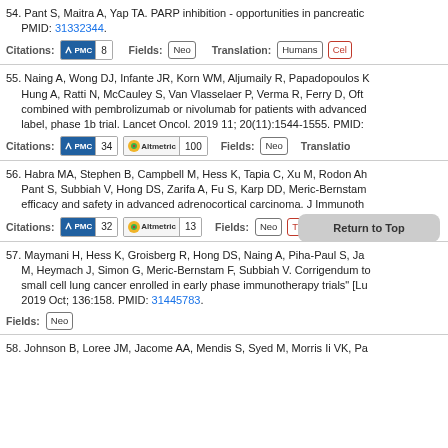54. Pant S, Maitra A, Yap TA. PARP inhibition - opportunities in pancreatic cancer. PMID: 31332344.
Citations: PMC 8   Fields: Neo   Translation: Humans Cell
55. Naing A, Wong DJ, Infante JR, Korn WM, Aljumaily R, Papadopoulos K, Hung A, Ratti N, McCauley S, Van Vlasselaer P, Verma R, Ferry D, Oft... combined with pembrolizumab or nivolumab for patients with advanced label, phase 1b trial. Lancet Oncol. 2019 11; 20(11):1544-1555. PMID:
Citations: PMC 34  Altmetric 100   Fields: Neo   Translation:
56. Habra MA, Stephen B, Campbell M, Hess K, Tapia C, Xu M, Rodon Ah Pant S, Subbiah V, Hong DS, Zarifa A, Fu S, Karp DD, Meric-Bernstam... efficacy and safety in advanced adrenocortical carcinoma. J Immunoth
Citations: PMC 32  Altmetric 13   Fields: Neo The   Tran
57. Maymani H, Hess K, Groisberg R, Hong DS, Naing A, Piha-Paul S, Ja... M, Heymach J, Simon G, Meric-Bernstam F, Subbiah V. Corrigendum to small cell lung cancer enrolled in early phase immunotherapy trials" [Lu 2019 Oct; 136:158. PMID: 31445783.
Fields: Neo
58. Johnson B, Loree JM, Jacome AA, Mendis S, Syed M, Morris Ii VK, Pa